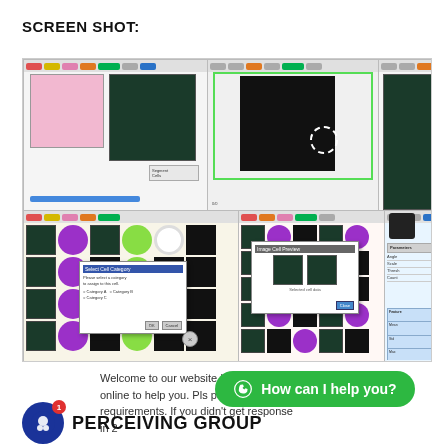SCREEN SHOT:
[Figure (screenshot): Screenshot of a scientific image analysis software (Perceiving Group) showing cell imaging workflows. Top row: left panel shows pink and green cell images with toolbar and progress bar; center panel shows a black image with white circle detection outline and green border; right panel shows a grid of dark-field green cell images. Bottom row: left panel shows a grid of purple/green colored cell analysis results with dialog box overlay; center panel shows similar cell grid with a popup dialog containing cell imagery; right panel shows a parameter table and 3D bar chart visualization.]
Welcome to our website !!! We are online to help you. Pls post your requirements. If you didn't get response in 2
[Figure (screenshot): WhatsApp-style chat button: green rounded button saying 'How can I help you?' with WhatsApp icon]
[Figure (logo): Perceiving Group logo: blue circle with chat icon and red notification badge showing '1', followed by bold text 'PERCEIVING GROUP']